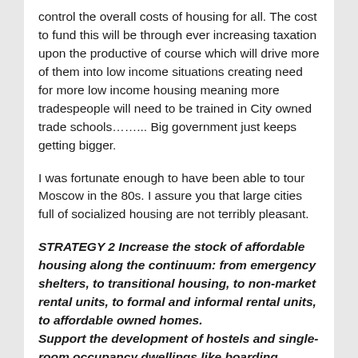control the overall costs of housing for all. The cost to fund this will be through ever increasing taxation upon the productive of course which will drive more of them into low income situations creating need for more low income housing meaning more tradespeople will need to be trained in City owned trade schools……... Big government just keeps getting bigger.
I was fortunate enough to have been able to tour Moscow in the 80s. I assure you that large cities full of socialized housing are not terribly pleasant.
STRATEGY 2 Increase the stock of affordable housing along the continuum: from emergency shelters, to transitional housing, to non-market rental units, to formal and informal rental units, to affordable owned homes. Support the development of hostels and single-room occupancy dwellings like boarding houses, special care facilities and lodging houses. Support the development of emergency and transitional housing to accommodate specific subgroups within the